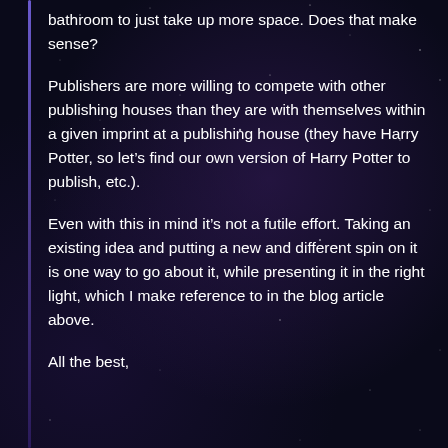bathroom to just take up more space. Does that make sense?
Publishers are more willing to compete with other publishing houses than they are with themselves within a given imprint at a publishing house (they have Harry Potter, so let’s find our own version of Harry Potter to publish, etc.).
Even with this in mind it’s not a futile effort. Taking an existing idea and putting a new and different spin on it is one way to go about it, while presenting it in the right light, which I make reference to in the blog article above.
All the best,